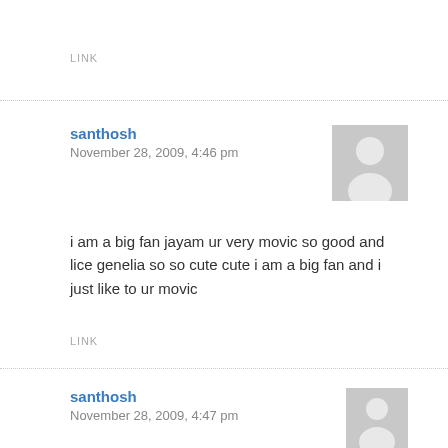LINK
santhosh
November 28, 2009, 4:46 pm
[Figure (illustration): Default grey avatar silhouette icon for user santhosh]
i am a big fan jayam ur very movic so good and lice genelia so so cute cute i am a big fan and i just like to ur movic
LINK
santhosh
November 28, 2009, 4:47 pm
[Figure (illustration): Default grey avatar silhouette icon for user santhosh]